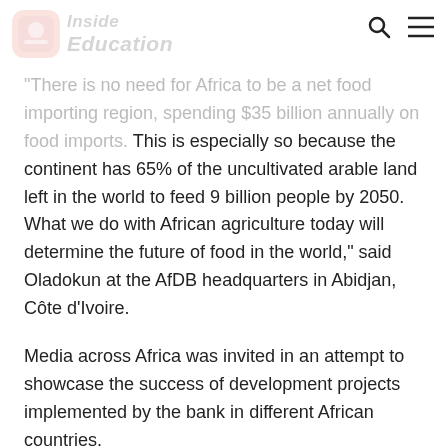Inside Education
"There is no need for Africa to be a net food importing region, spending $35 billion annually on food imports. This is especially so because the continent has 65% of the uncultivated arable land left in the world to feed 9 billion people by 2050. What we do with African agriculture today will determine the future of food in the world," said Oladokun at the AfDB headquarters in Abidjan, Côte d'Ivoire.
Media across Africa was invited in an attempt to showcase the success of development projects implemented by the bank in different African countries.
Oladokun said media was considered a major development partner of the bank.
He said it was important to showcase the achievements of Afri...